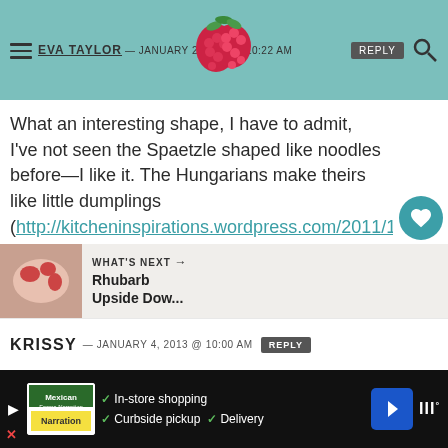EVA TAYLOR — JANUARY 2013 @ 10:22 AM
What an interesting shape, I have to admit, I've not seen the Spaetzle shaped like noodles before—I like it. The Hungarians make theirs like little dumplings (http://kitcheninspiration.wordpress.com/2011/10/31/halloween-another-scary-story-and-chicken-paprikas/), and we make them with a tool that looks like this. I love the herb combo with this, sounds absolutely mouth watering.
WHAT'S NEXT → Rhubarb Upside Dow...
KRISSY — JANUARY 4, 2013 @ 10:00 AM REPLY
In-store shopping  Curbside pickup  Delivery